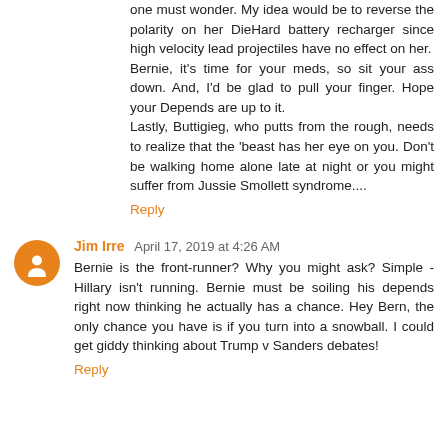one must wonder. My idea would be to reverse the polarity on her DieHard battery recharger since high velocity lead projectiles have no effect on her.
Bernie, it's time for your meds, so sit your ass down. And, I'd be glad to pull your finger. Hope your Depends are up to it.
Lastly, Buttigieg, who putts from the rough, needs to realize that the 'beast has her eye on you. Don't be walking home alone late at night or you might suffer from Jussie Smollett syndrome....
Reply
Jim Irre  April 17, 2019 at 4:26 AM
Bernie is the front-runner? Why you might ask? Simple - Hillary isn't running. Bernie must be soiling his depends right now thinking he actually has a chance. Hey Bern, the only chance you have is if you turn into a snowball. I could get giddy thinking about Trump v Sanders debates!
Reply